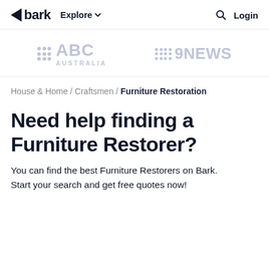bark  Explore  Login
[Figure (logo): ABC Australia and 9NEWS media logos in light grey]
House & Home / Craftsmen / Furniture Restoration
Need help finding a Furniture Restorer?
You can find the best Furniture Restorers on Bark. Start your search and get free quotes now!